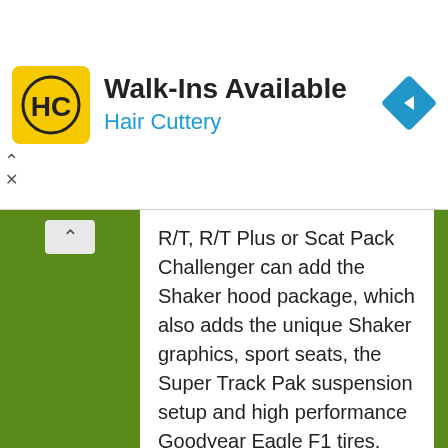[Figure (advertisement): Hair Cuttery advertisement banner with yellow HC logo, 'Walk-Ins Available' heading, 'Hair Cuttery' subtitle in blue, and a blue navigation diamond icon on the right.]
R/T, R/T Plus or Scat Pack Challenger can add the Shaker hood package, which also adds the unique Shaker graphics, sport seats, the Super Track Pak suspension setup and high performance Goodyear Eagle F1 tires.